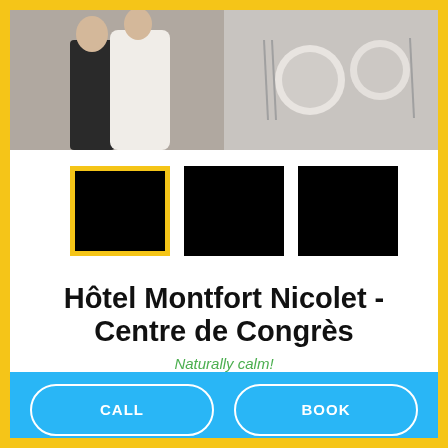[Figure (photo): Wedding couple (left) and table setting (right) photo strip at top of hotel listing page]
[Figure (photo): Three black thumbnail image squares, first one highlighted with yellow border]
Hôtel Montfort Nicolet - Centre de Congrès
Naturally calm!
CALL
BOOK
1141 rue Saint-Jean-Baptiste
Nicolet (Quebec)